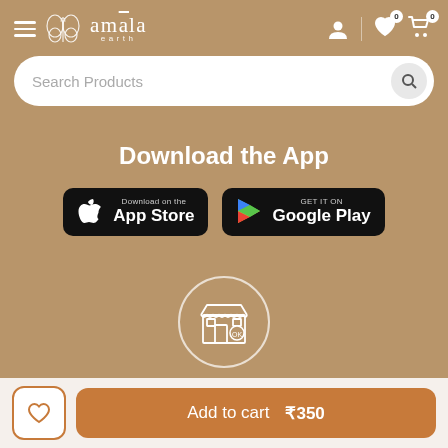[Figure (screenshot): Amala Earth app website header with hamburger menu, butterfly logo, brand name 'amala earth', user icon, wishlist icon with badge 0, and cart icon with badge 0]
Search Products
Download the App
[Figure (logo): Download on the App Store button - black rounded rectangle with Apple logo and text]
[Figure (logo): GET IT ON Google Play button - black rounded rectangle with Play Store logo and text]
[Figure (illustration): Store/shop icon inside a white circle outline]
Add to cart   ₹350